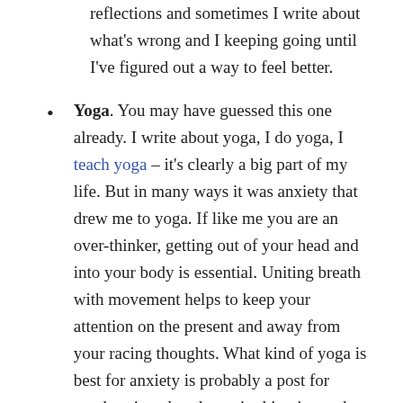reflections and sometimes I write about what's wrong and I keeping going until I've figured out a way to feel better.
Yoga. You may have guessed this one already. I write about yoga, I do yoga, I teach yoga – it's clearly a big part of my life. But in many ways it was anxiety that drew me to yoga. If like me you are an over-thinker, getting out of your head and into your body is essential. Uniting breath with movement helps to keep your attention on the present and away from your racing thoughts. What kind of yoga is best for anxiety is probably a post for another time, but the main thing is to take the pressure off. You don't need to do an intense 2 hour vinyasa flow practice, unless you want to. Just get